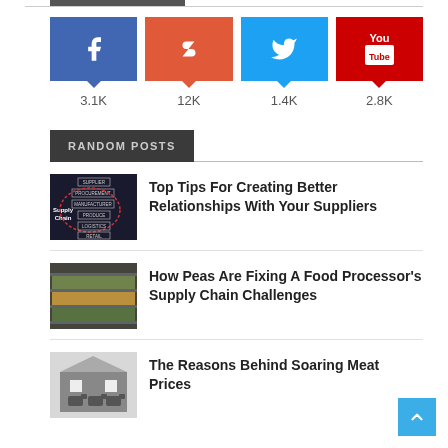[Figure (infographic): Social media share counts row: Facebook 3.1K, Dollar 12K, Twitter 1.4K, YouTube 2.8K]
RANDOM POSTS
[Figure (photo): Supply chain diagram on blackboard]
Top Tips For Creating Better Relationships With Your Suppliers
[Figure (photo): Grocery store refrigerated display shelves with produce]
How Peas Are Fixing A Food Processor's Supply Chain Challenges
[Figure (photo): Cattle in a barn or feedlot]
The Reasons Behind Soaring Meat Prices